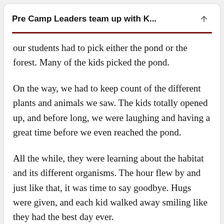Pre Camp Leaders team up with K...
our students had to pick either the pond or the forest. Many of the kids picked the pond.
On the way, we had to keep count of the different plants and animals we saw. The kids totally opened up, and before long, we were laughing and having a great time before we even reached the pond.
All the while, they were learning about the habitat and its different organisms. The hour flew by and just like that, it was time to say goodbye. Hugs were given, and each kid walked away smiling like they had the best day ever.